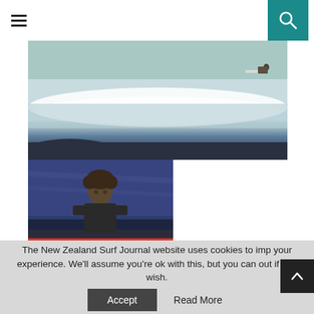Navigation menu and search icon
[Figure (photo): Surfer riding a wave viewed from the shoreline, with white foam and dark rocky foreground]
[Figure (photo): Man standing outdoors at night with a colorful striped surfboard in front of him, dark sky behind]
The New Zealand Surf Journal website uses cookies to improve your experience. We'll assume you're ok with this, but you can opt out if you wish.
Accept
Read More